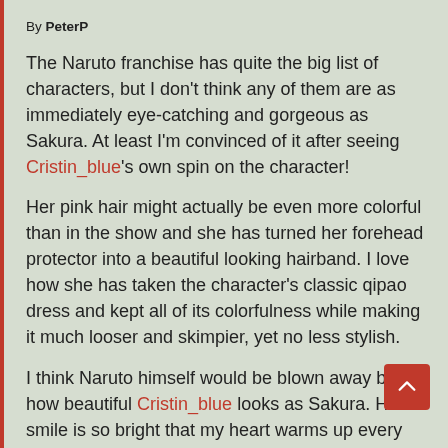By PeterP
The Naruto franchise has quite the big list of characters, but I don't think any of them are as immediately eye-catching and gorgeous as Sakura. At least I'm convinced of it after seeing Cristin_blue's own spin on the character!
Her pink hair might actually be even more colorful than in the show and she has turned her forehead protector into a beautiful looking hairband. I love how she has taken the character's classic qipao dress and kept all of its colorfulness while making it much looser and skimpier, yet no less stylish.
I think Naruto himself would be blown away by how beautiful Cristin_blue looks as Sakura. Her smile is so bright that my heart warms up every time I take a look into her colorful room!